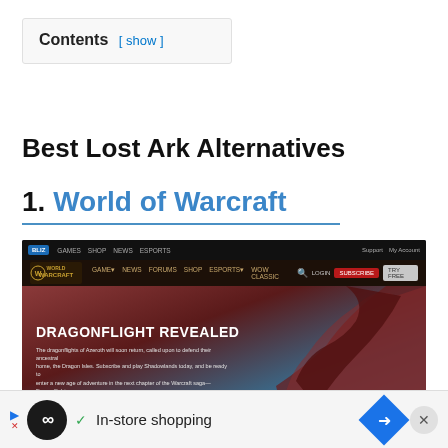Contents [ show ]
Best Lost Ark Alternatives
1. World of Warcraft
[Figure (screenshot): Screenshot of the World of Warcraft official website showing the Dragonflight Revealed hero section with navigation bar, WoW logo, and a dragon image. Hero text reads 'DRAGONFLIGHT REVEALED' with description text about the dragonflights of Azeroth returning.]
In-store shopping